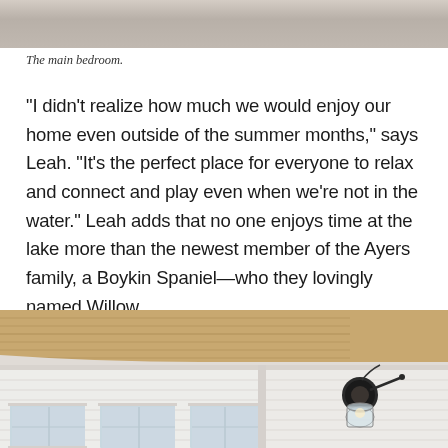[Figure (photo): Top portion of a bedroom photo showing white pillows and bedding — cropped at top of page]
The main bedroom.
“I didn’t realize how much we would enjoy our home even outside of the summer months,” says Leah. “It’s the perfect place for everyone to relax and connect and play even when we’re not in the water.” Leah adds that no one enjoys time at the lake more than the newest member of the Ayers family, a Boykin Spaniel—who they lovingly named Willow.
[Figure (photo): Interior room photo showing wood plank ceiling, white shiplap walls, windows, and a black wall sconce light fixture]